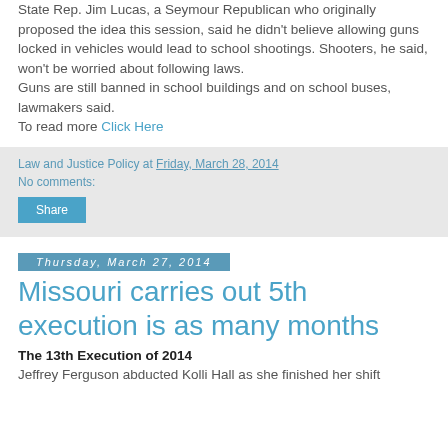State Rep. Jim Lucas, a Seymour Republican who originally proposed the idea this session, said he didn't believe allowing guns locked in vehicles would lead to school shootings. Shooters, he said, won't be worried about following laws.
Guns are still banned in school buildings and on school buses, lawmakers said.
To read more Click Here
Law and Justice Policy at Friday, March 28, 2014
No comments:
Share
Thursday, March 27, 2014
Missouri carries out 5th execution is as many months
The 13th Execution of 2014
Jeffrey Ferguson abducted Kolli Hall as she finished her shift